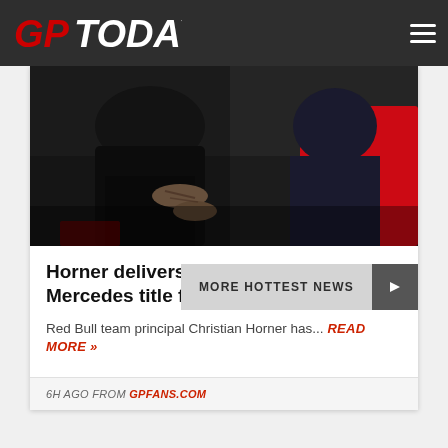GPToday
[Figure (photo): Two F1 team personnel seated, one wearing Mercedes gear with tattooed arms visible, another in Red Bull jacket, appearing to be at a press conference or team debrief]
Horner delivers damning verdict on Mercedes title fight...
Red Bull team principal Christian Horner has...
6H AGO FROM GPFANS.COM
MORE HOTTEST NEWS